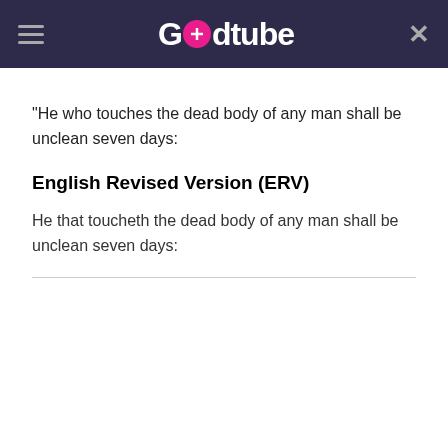Godtube
"He who touches the dead body of any man shall be unclean seven days:
English Revised Version (ERV)
He that toucheth the dead body of any man shall be unclean seven days: